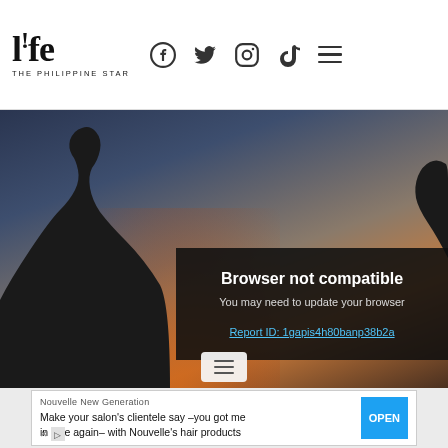life THE PHILIPPINE STAR — navigation with Facebook, Twitter, Instagram, TikTok icons and menu
[Figure (photo): Hero image showing silhouettes of two people against a dusk/sunset sky background with orange and blue gradients. A dark overlay box shows a browser compatibility error message.]
Browser not compatible
You may need to update your browser
Report ID: 1gapis4h80banp38b2a
Nouvelle New Generation
Make your salon's clientele say –you got me in love again– with Nouvelle's hair products
OPEN